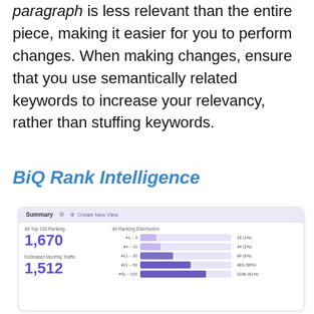paragraph is less relevant than the entire piece, making it easier for you to perform changes. When making changes, ensure that you use semantically related keywords to increase your relevancy, rather than stuffing keywords.
BiQ Rank Intelligence
[Figure (screenshot): BiQ Rank Intelligence dashboard screenshot showing Summary tab with All Top 100 Ranking of 1,670 and Estimated Monthly Traffic of 1,512, alongside All Ranking Distribution bar chart with ranges #1-3 (18, 1%), #4-10 (34, 2%), #11-20 (99, 6%), #21-50 (493, 30%), #51-100 (1026, 61%)]